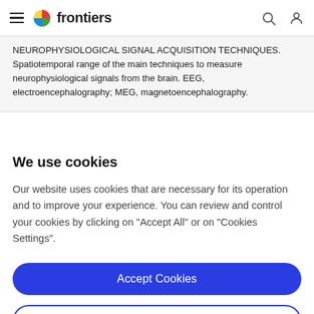frontiers
NEUROPHYSIOLOGICAL SIGNAL ACQUISITION TECHNIQUES. Spatiotemporal range of the main techniques to measure neurophysiological signals from the brain. EEG, electroencephalography; MEG, magnetoencephalography.
We use cookies
Our website uses cookies that are necessary for its operation and to improve your experience. You can review and control your cookies by clicking on "Accept All" or on "Cookies Settings".
Accept Cookies
Cookies Settings